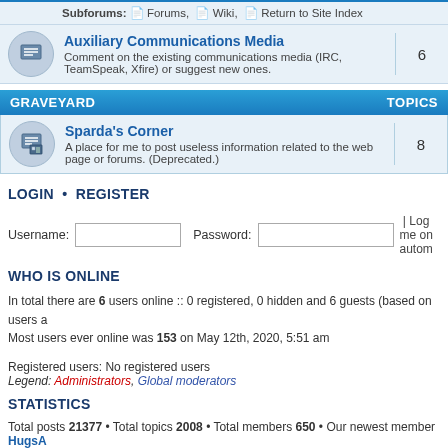Subforums: Forums, Wiki, Return to Site Index
Auxiliary Communications Media
Comment on the existing communications media (IRC, TeamSpeak, Xfire) or suggest new ones. Topics: 6
GRAVEYARD — TOPICS
Sparda's Corner
A place for me to post useless information related to the web page or forums. (Deprecated.) Topics: 8
LOGIN • REGISTER
Username: [input] Password: [input] | Log me on autom
WHO IS ONLINE
In total there are 6 users online :: 0 registered, 0 hidden and 6 guests (based on users a…
Most users ever online was 153 on May 12th, 2020, 5:51 am
Registered users: No registered users
Legend: Administrators, Global moderators
STATISTICS
Total posts 21377 • Total topics 2008 • Total members 650 • Our newest member HugsA…
Board index   The team • Delete all
Powered by phpBB® Forum Software © phpBB Gr…